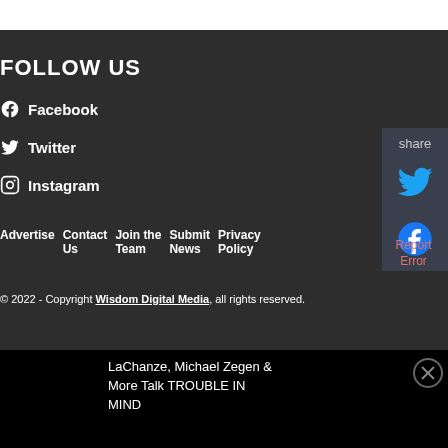FOLLOW US
Facebook
Twitter
Instagram
Advertise   Contact Us   Join the Team   Submit News   Privacy Policy   Report Error
© 2022 - Copyright Wisdom Digital Media, all rights reserved.
share
LaChanze, Michael Zegen & More Talk TROUBLE IN MIND